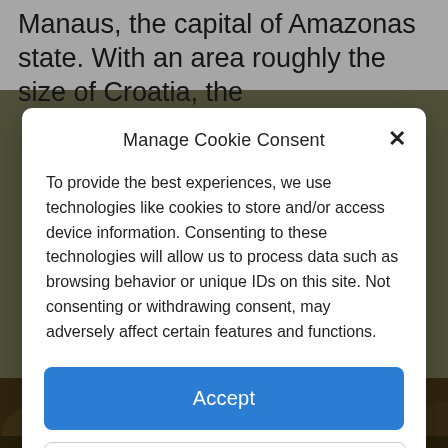Manaus, the capital of Amazonas state. With an area roughly the size of Croatia, the
Manage Cookie Consent
To provide the best experiences, we use technologies like cookies to store and/or access device information. Consenting to these technologies will allow us to process data such as browsing behavior or unique IDs on this site. Not consenting or withdrawing consent, may adversely affect certain features and functions.
Accept
Deny
View preferences
Cookie Policy  Privacy policy
[Figure (photo): Forest canopy photograph visible at the bottom of the page behind the modal]